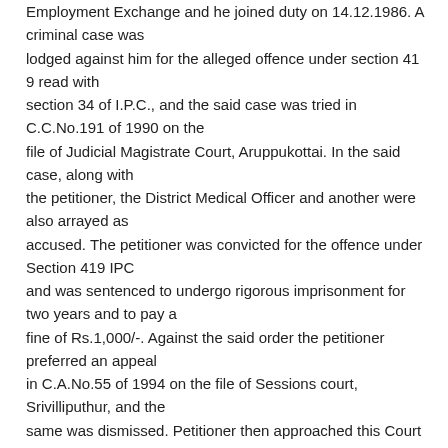Employment Exchange and he joined duty on 14.12.1986. A criminal case was lodged against him for the alleged offence under section 419 read with section 34 of I.P.C., and the said case was tried in C.C.No.191 of 1990 on the file of Judicial Magistrate Court, Aruppukottai. In the said case, along with the petitioner, the District Medical Officer and another were also arrayed as accused. The petitioner was convicted for the offence under Section 419 IPC and was sentenced to undergo rigorous imprisonment for two years and to pay a fine of Rs.1,000/-. Against the said order the petitioner preferred an appeal in C.A.No.55 of 1994 on the file of Sessions court, Srivilliputhur, and the same was dismissed. Petitioner then approached this Court by filing Crl.R.C.No.361 of 1994 and this Court allowed the same by judgment dated